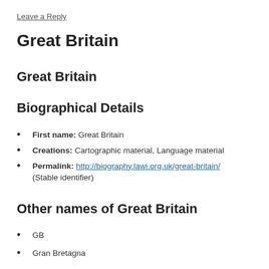Leave a Reply
Great Britain
Great Britain
Biographical Details
First name: Great Britain
Creations: Cartographic material, Language material
Permalink: http://biography.lawi.org.uk/great-britain/ (Stable identifier)
Other names of Great Britain
GB
Gran Bretagna